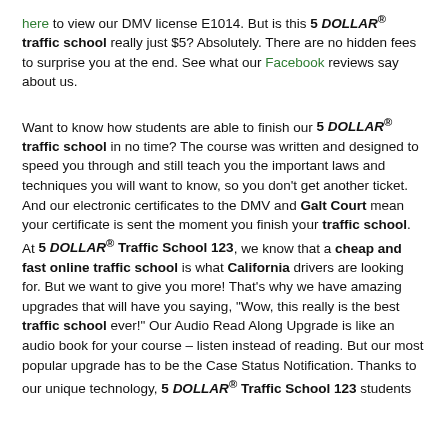here to view our DMV license E1014. But is this 5 DOLLAR® traffic school really just $5? Absolutely. There are no hidden fees to surprise you at the end. See what our Facebook reviews say about us.
Want to know how students are able to finish our 5 DOLLAR® traffic school in no time? The course was written and designed to speed you through and still teach you the important laws and techniques you will want to know, so you don't get another ticket. And our electronic certificates to the DMV and Galt Court mean your certificate is sent the moment you finish your traffic school. At 5 DOLLAR® Traffic School 123, we know that a cheap and fast online traffic school is what California drivers are looking for. But we want to give you more! That's why we have amazing upgrades that will have you saying, "Wow, this really is the best traffic school ever!" Our Audio Read Along Upgrade is like an audio book for your course – listen instead of reading. But our most popular upgrade has to be the Case Status Notification. Thanks to our unique technology, 5 DOLLAR® Traffic School 123 students